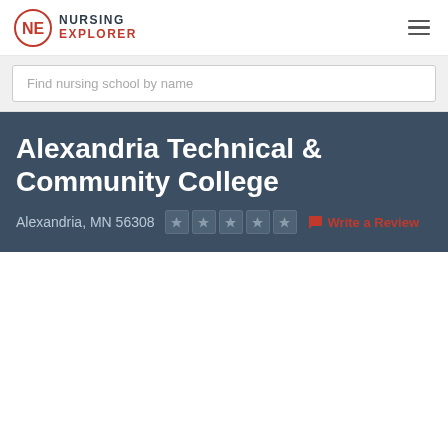NURSING EXPLORER
Find nursing school by name
Alexandria Technical & Community College
Alexandria, MN 56308
Write a Review